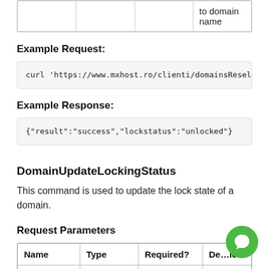|  |  |  | to domain name |
Example Request:
curl 'https://www.mxhost.ro/clienti/domainsResell...
Example Response:
{"result":"success","lockstatus":"unlocked"}
DomainUpdateLockingStatus
This command is used to update the lock state of a domain.
Request Parameters
| Name | Type | Required? | Description |
| --- | --- | --- | --- |
| sld | String | Yes | Domain |